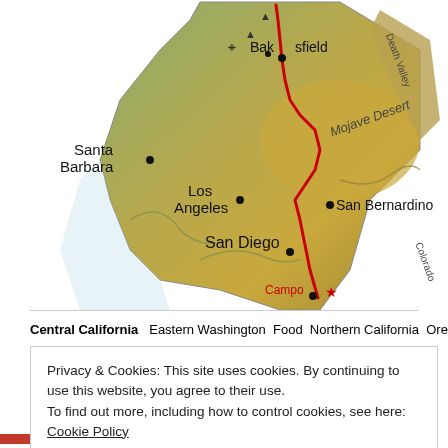[Figure (map): Map of Southern California showing the Pacific Crest Trail route marked in red, starting from Campo (marked with a red star) near the Mexico border and going north through San Diego, San Bernardino, Los Angeles, Santa Barbara, Bakersfield, and through the Mojave Desert. Geographic features labeled include Death Valley, Colorado River, and Mojave Desert. Cities shown with black dots.]
Central California   Eastern Washington   Food   Northern California   Oregon
Privacy & Cookies: This site uses cookies. By continuing to use this website, you agree to their use.
To find out more, including how to control cookies, see here: Cookie Policy
Close and accept